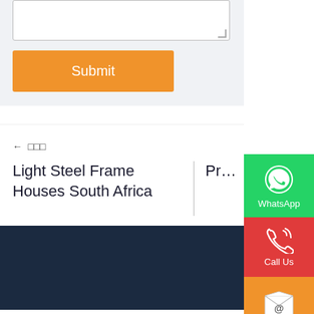[Figure (screenshot): Textarea input box at the top of a web form]
Submit
← 上一篇
Light Steel Frame Houses South Africa
Prefab House M…
[Figure (screenshot): WhatsApp contact button (green) with WhatsApp logo icon and label 'WhatsApp']
[Figure (screenshot): Call Us button (red) with phone icon and label 'Call Us']
[Figure (screenshot): E-mail button (orange) with envelope/@ icon and label 'E-mail']